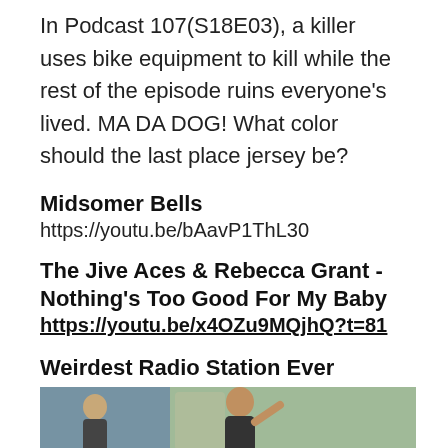In Podcast 107(S18E03), a killer uses bike equipment to kill while the rest of the episode ruins everyone's lived. MA DA DOG! What color should the last place jersey be?
Midsomer Bells
https://youtu.be/bAavP1ThL30
The Jive Aces & Rebecca Grant - Nothing's Too Good For My Baby
https://youtu.be/x4OZu9MQjhQ?t=81
Weirdest Radio Station Ever
[Figure (photo): A photo showing a person, partially cropped, appearing to be at some kind of event or studio setting with a blue background]